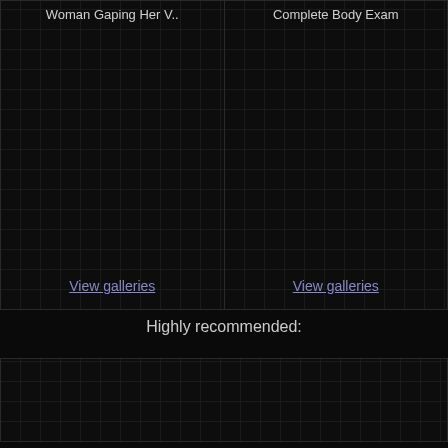Woman Gaping Her V..
Complete Body Exam
View galleries
View galleries
Highly recommended: